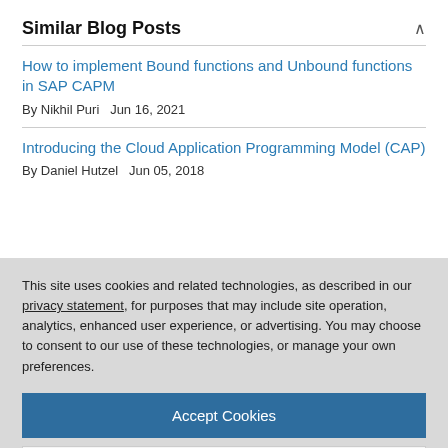Similar Blog Posts
How to implement Bound functions and Unbound functions in SAP CAPM
By Nikhil Puri   Jun 16, 2021
Introducing the Cloud Application Programming Model (CAP)
By Daniel Hutzel   Jun 05, 2018
This site uses cookies and related technologies, as described in our privacy statement, for purposes that may include site operation, analytics, enhanced user experience, or advertising. You may choose to consent to our use of these technologies, or manage your own preferences.
Accept Cookies
More Information
Privacy Policy | Powered by:  TrustArc
Repository?